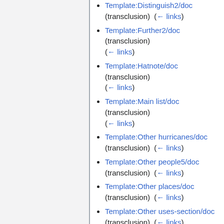Template:Distinguish2/doc (transclusion) (← links)
Template:Further2/doc (transclusion) (← links)
Template:Hatnote/doc (transclusion) (← links)
Template:Main list/doc (transclusion) (← links)
Template:Other hurricanes/doc (transclusion) (← links)
Template:Other people5/doc (transclusion) (← links)
Template:Other places/doc (transclusion) (← links)
Template:Other uses-section/doc (transclusion) (← links)
Template:Other uses2/doc (transclusion) (← links)
Template:Redirect-distinguish2/doc (transclusion) (← links)